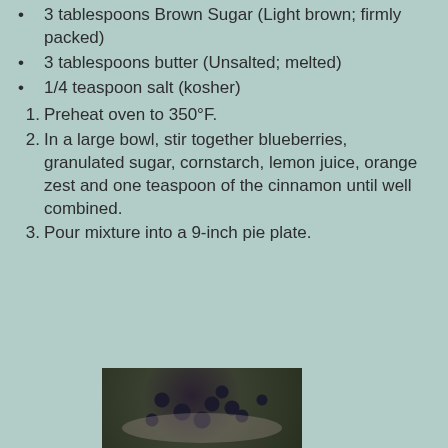3 tablespoons Brown Sugar (Light brown; firmly packed)
3 tablespoons butter (Unsalted; melted)
1/4 teaspoon salt (kosher)
1. Preheat oven to 350°F.
2. In a large bowl, stir together blueberries, granulated sugar, cornstarch, lemon juice, orange zest and one teaspoon of the cinnamon until well combined.
3. Pour mixture into a 9-inch pie plate.
[Figure (photo): Photo of blueberries in a bowl with crumble topping]